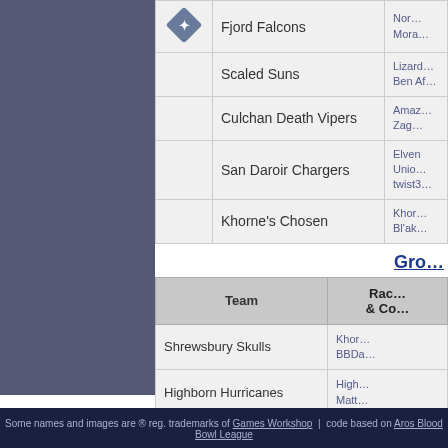|  | Team | Race & Coach |
| --- | --- | --- |
| [logo] | Fjord Falcons | Nor...
Mora... |
|  | Scaled Suns | Lizard...
Ben Af... |
|  | Culchan Death Vipers | Amaz...
Zag... |
|  | San Daroir Chargers | Elven Unio...
twist3... |
|  | Khorne's Chosen | Khor...
Bl'ak... |
Gro...
| Team | Race & Coach |
| --- | --- |
| Shrewsbury Skulls | Khor...
BBDa... |
| Highborn Hurricanes | High...
Matt... |
| Noble Dare Devils | Imperial t...
Duke Eve... |
| Briar Patch Bolters | Wood...
Garage 2... |
Some names and images are ® reg. trademarks of Games Workshop | code based on Aros Blood Bowl League